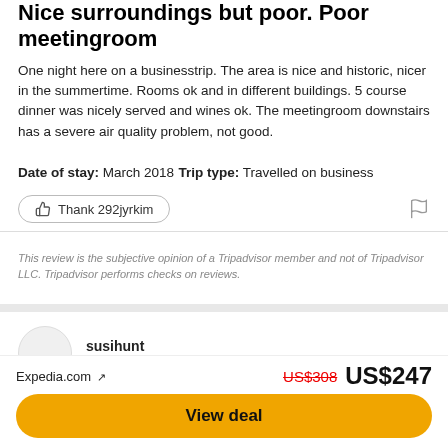Nice surroundings but poor. Poor meetingroom
One night here on a businesstrip. The area is nice and historic, nicer in the summertime. Rooms ok and in different buildings. 5 course dinner was nicely served and wines ok. The meetingroom downstairs has a severe air quality problem, not good.
Date of stay: March 2018
Trip type: Travelled on business
Thank 292jyrkim
This review is the subjective opinion of a Tripadvisor member and not of Tripadvisor LLC. Tripadvisor performs checks on reviews.
susihunt
Lahti, Finland
Reviewed 3 September 2017
Great place for golfers and to all others.
Expedia.com ↗  US$308  US$247
View deal